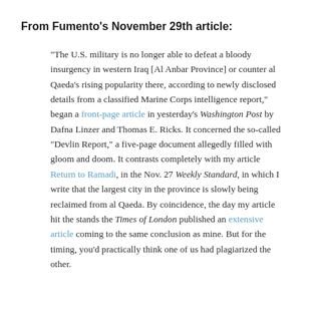From Fumento's November 29th article:
"The U.S. military is no longer able to defeat a bloody insurgency in western Iraq [Al Anbar Province] or counter al Qaeda's rising popularity there, according to newly disclosed details from a classified Marine Corps intelligence report," began a front-page article in yesterday's Washington Post by Dafna Linzer and Thomas E. Ricks. It concerned the so-called "Devlin Report," a five-page document allegedly filled with gloom and doom. It contrasts completely with my article Return to Ramadi, in the Nov. 27 Weekly Standard, in which I write that the largest city in the province is slowly being reclaimed from al Qaeda. By coincidence, the day my article hit the stands the Times of London published an extensive article coming to the same conclusion as mine. But for the timing, you'd practically think one of us had plagiarized the other.